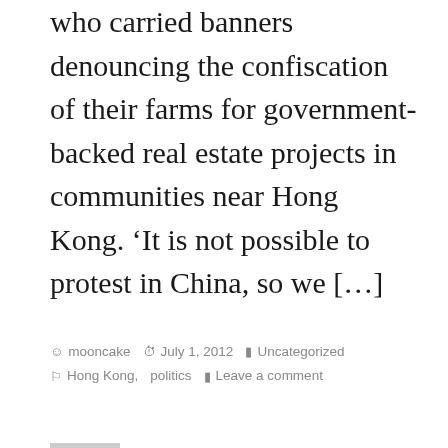who carried banners denouncing the confiscation of their farms for government-backed real estate projects in communities near Hong Kong. ‘It is not possible to protest in China, so we […]
by mooncake  July 1, 2012  Uncategorized  Hong Kong, politics  Leave a comment